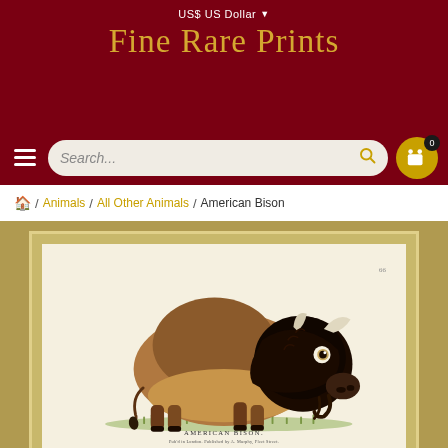US$ US Dollar
Fine Rare Prints
Search...
🏠 / Animals / All Other Animals / American Bison
[Figure (illustration): Antique hand-colored engraving of an American Bison (buffalo) standing on grass, facing right with head lowered. The print has a cream/ivory background with the bison depicted in dark brown tones. Caption reads 'AMERICAN BISON' with a publication line below.]